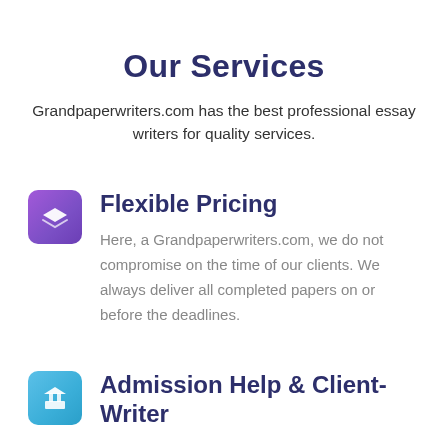Our Services
Grandpaperwriters.com has the best professional essay writers for quality services.
Flexible Pricing
Here, a Grandpaperwriters.com, we do not compromise on the time of our clients. We always deliver all completed papers on or before the deadlines.
Admission Help & Client-Writer